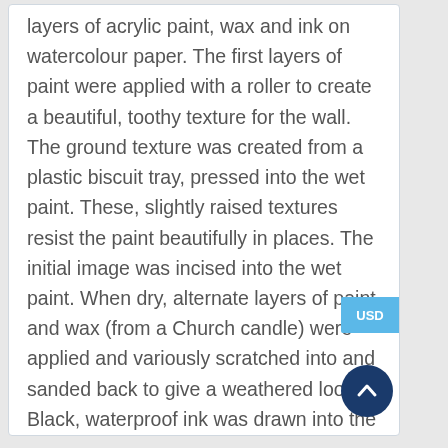layers of acrylic paint, wax and ink on watercolour paper. The first layers of paint were applied with a roller to create a beautiful, toothy texture for the wall.  The ground texture was created from a plastic biscuit tray, pressed into the wet paint. These, slightly raised textures resist the paint beautifully in places. The initial image was incised into the wet paint. When dry, alternate layers of paint and wax (from a Church candle) were applied and variously scratched into and sanded back to give a weathered look. Black, waterproof ink was drawn into the image with a stick and a fine pen was used for the delicate olive leaves. The finished painting was treated to a coat or two of transparent spray varnish.